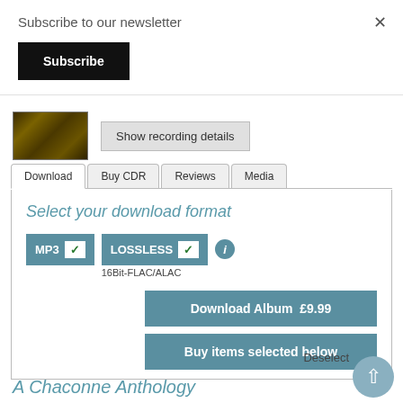Subscribe to our newsletter
Subscribe
×
[Figure (photo): Album cover thumbnail with dark gold/brown textured pattern]
Show recording details
Download
Buy CDR
Reviews
Media
Select your download format
MP3 ✓
LOSSLESS ✓
16Bit-FLAC/ALAC
Download Album  £9.99
Buy items selected below
Deselect
A Chaconne Anthology